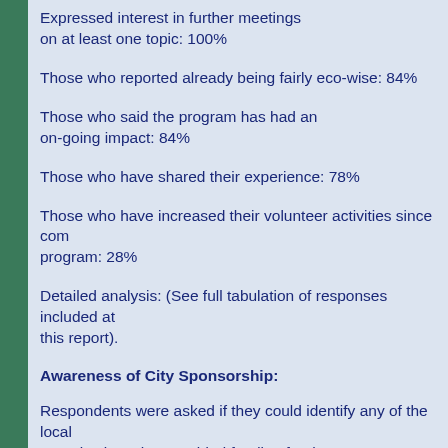Expressed interest in further meetings on at least one topic: 100%
Those who reported already being fairly eco-wise: 84%
Those who said the program has had an on-going impact: 84%
Those who have shared their experience: 78%
Those who have increased their volunteer activities since completing the program: 28%
Detailed analysis: (See full tabulation of responses included at the end of this report).
Awareness of City Sponsorship:
Respondents were asked if they could identify any of the local organizations that provided funding for the EcoTeam program. Approximately half (54%) correctly identified the City of Portland.